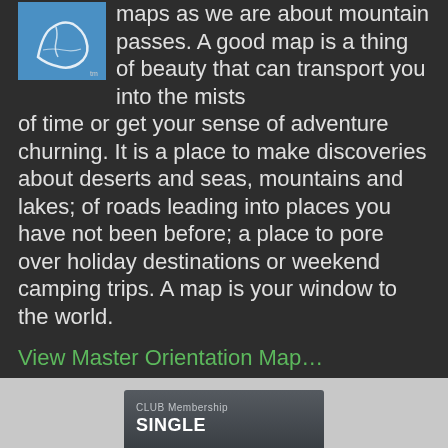[Figure (map): Small blue map thumbnail showing a geographic region outline in white on blue background]
maps as we are about mountain passes. A good map is a thing of beauty that can transport you into the mists of time or get your sense of adventure churning. It is a place to make discoveries about deserts and seas, mountains and lakes; of roads leading into places you have not been before; a place to pore over holiday destinations or weekend camping trips. A map is your window to the world.
View Master Orientation Map…
[Figure (screenshot): Card box showing CLUB Membership SINGLE label on dark grey background]